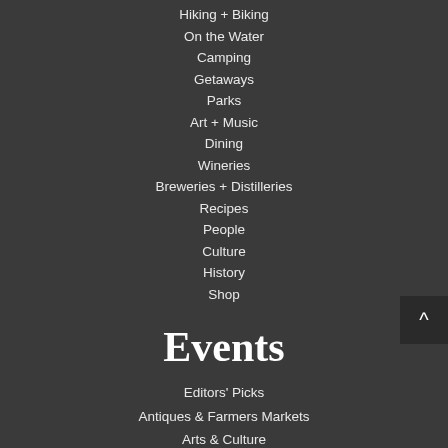Hiking + Biking
On the Water
Camping
Getaways
Parks
Art + Music
Dining
Wineries
Breweries + Distilleries
Recipes
People
Culture
History
Shop
Events
Editors' Picks
Antiques & Farmers Markets
Arts & Culture